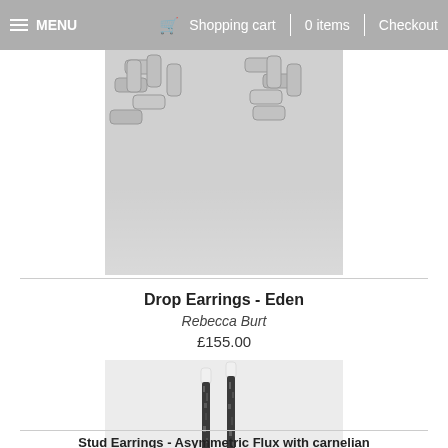MENU | Shopping cart | 0 items | Checkout
[Figure (photo): Partial top image showing silver chain/bracelet jewelry on white background]
Drop Earrings - Eden
Rebecca Burt
£155.00
[Figure (photo): Two long drop earrings with dark speckled stems and orange/red carnelian teardrop stones on white background]
Stud Earrings - Asymmetric Flux with carnelian